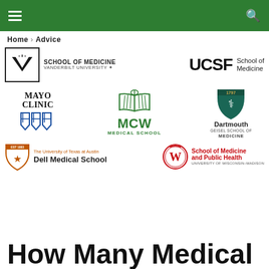≡  🔍
Home › Advice
[Figure (logo): Vanderbilt University School of Medicine logo]
[Figure (logo): UCSF School of Medicine logo]
[Figure (logo): Mayo Clinic logo]
[Figure (logo): MCW Medical College of Wisconsin Medical School logo]
[Figure (logo): Dartmouth Geisel School of Medicine logo]
[Figure (logo): The University of Texas at Austin Dell Medical School logo]
[Figure (logo): University of Wisconsin-Madison School of Medicine and Public Health logo]
How Many Medical